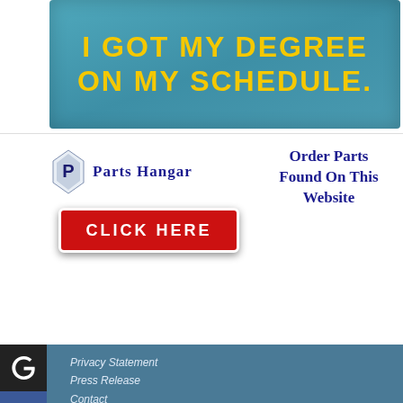[Figure (screenshot): Teal banner advertisement with text 'I Got My Degree On My Schedule.' in yellow bold uppercase letters]
[Figure (screenshot): Parts Hangar advertisement with logo, CLICK HERE button in red, and 'Order Parts Found On This Website' in dark blue text]
[Figure (screenshot): Website footer section with teal background, social media icons (Google+, Facebook, LinkedIn, Twitter, People, StumbleUpon), navigation links (Privacy Statement, Press Release, Contact), copyright bar, and Integrated Publishing Inc SDVOSB notice]